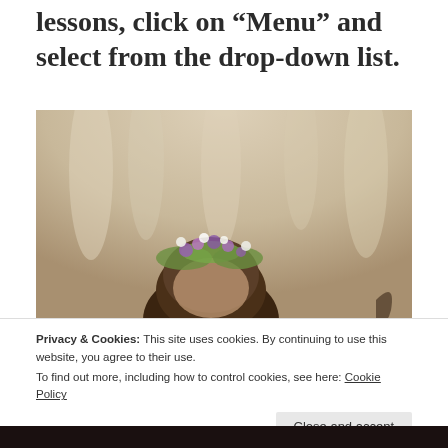lessons, click on “Menu” and select from the drop-down list.
[Figure (photo): A person with dark hair wearing a flower crown made of wildflowers including purple and white flowers with green foliage, photographed against a blurred warm beige background with dappled light patterns. A cello scroll is partially visible at the right edge.]
Privacy & Cookies: This site uses cookies. By continuing to use this website, you agree to their use.
To find out more, including how to control cookies, see here: Cookie Policy
Close and accept